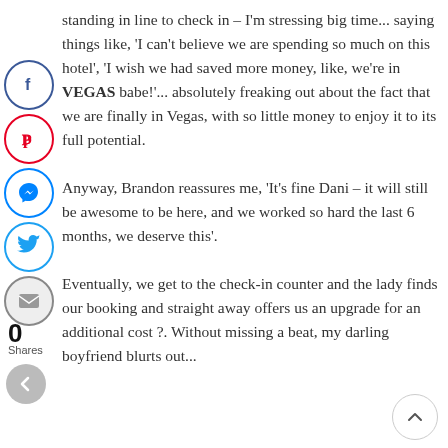standing in line to check in – I'm stressing big time... saying things like, 'I can't believe we are spending so much on this hotel', 'I wish we had saved more money, like, we're in VEGAS babe!'... absolutely freaking out about the fact that we are finally in Vegas, with so little money to enjoy it to its full potential.

Anyway, Brandon reassures me, 'It's fine Dani – it will still be awesome to be here, and we worked so hard the last 6 months, we deserve this'.

Eventually, we get to the check-in counter and the lady finds our booking and straight away offers us an upgrade for an additional cost ?. Without missing a beat, my darling boyfriend blurts out...
[Figure (infographic): Social share buttons: Facebook, Pinterest, Messenger, Twitter, Email icons in circles on left side. Share count 0 with Shares label. Back arrow button.]